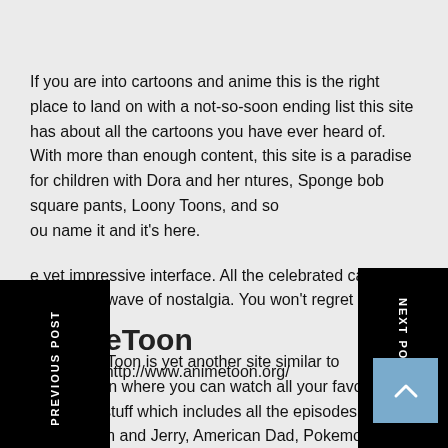If you are into cartoons and anime this is the right place to land on with a not-so-soon ending list this site has about all the cartoons you have ever heard of. With more than enough content, this site is a paradise for children with Dora and her adventures, Sponge bob square pants, Loony Toons, and so you name it and it's here.
e yet impressive interface. All the celebrated cartoons you with a wave of nostalgia. You won't regret it.
AnimeToon
o the site- http://www.animetoon.org/
PREVIOUS POST
NEXT POST
The AnimeToon is yet another site similar to KissCartoon where you can watch all your favorite childhood stuff which includes all the episodes of Ben10, Tom and Jerry, American Dad, Pokemon and apart from them it also has a section for